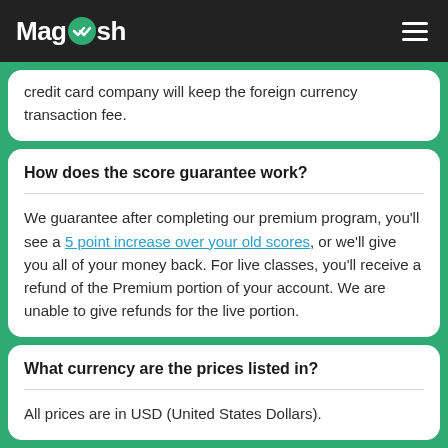Magoosh
credit card company will keep the foreign currency transaction fee.
How does the score guarantee work?
We guarantee after completing our premium program, you'll see a 5 point increase over your old scores, or we'll give you all of your money back. For live classes, you'll receive a refund of the Premium portion of your account. We are unable to give refunds for the live portion.
What currency are the prices listed in?
All prices are in USD (United States Dollars).